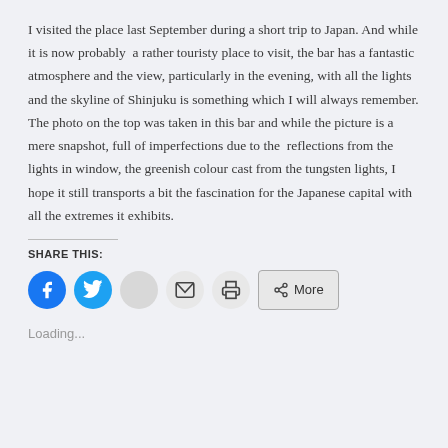I visited the place last September during a short trip to Japan. And while it is now probably  a rather touristy place to visit, the bar has a fantastic atmosphere and the view, particularly in the evening, with all the lights and the skyline of Shinjuku is something which I will always remember. The photo on the top was taken in this bar and while the picture is a mere snapshot, full of imperfections due to the  reflections from the lights in window, the greenish colour cast from the tungsten lights, I hope it still transports a bit the fascination for the Japanese capital with all the extremes it exhibits.
SHARE THIS:
[Figure (infographic): Social share buttons: Facebook (blue circle with F icon), Twitter (blue circle with bird icon), grey circle button, email envelope button, print button, and a 'More' button with share icon.]
Loading...